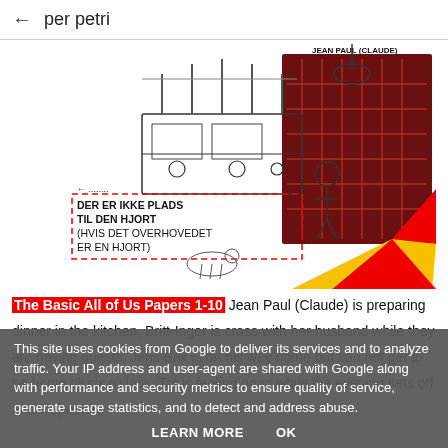← per petri
[Figure (illustration): Cartoon/sketch illustration showing Jean Paul (Claude) in a kitchen scene with text 'DER ER IKKE PLADS TIL DEN HJORT (HVIS DET OVERHOVEDET ER EN HJORT)' in a dashed box on the left, and colorful red/yellow rays on the right side with dark maroon backdrop]
The Basic All of Us Papers 1-10 Jean Paul (Claude) is preparing dinner in the kitchen, Britt-Inger is cross with her husband while they are having guests, Jens Erik is on his way home but can not get to be home till six o'clock, Tut is feeling good while the evening sets off and Inspector
This site uses cookies from Google to deliver its services and to analyze traffic. Your IP address and user-agent are shared with Google along with performance and security metrics to ensure quality of service, generate usage statistics, and to detect and address abuse.
LEARN MORE   OK